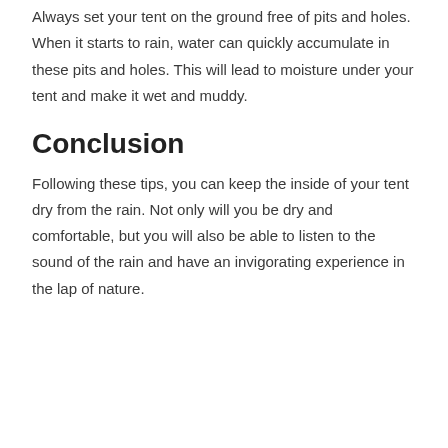Always set your tent on the ground free of pits and holes. When it starts to rain, water can quickly accumulate in these pits and holes. This will lead to moisture under your tent and make it wet and muddy.
Conclusion
Following these tips, you can keep the inside of your tent dry from the rain. Not only will you be dry and comfortable, but you will also be able to listen to the sound of the rain and have an invigorating experience in the lap of nature.